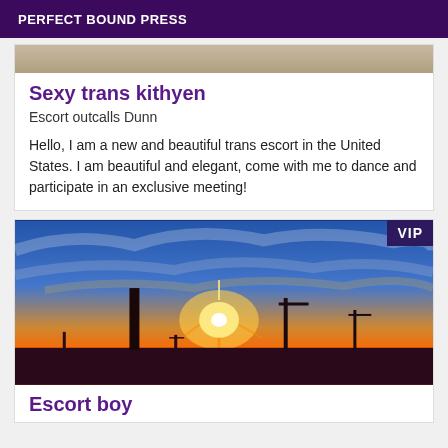PERFECT BOUND PRESS
[Figure (photo): Partial photo visible at top of first card]
Sexy trans kithyen
Escort outcalls Dunn
Hello, I am a new and beautiful trans escort in the United States. I am beautiful and elegant, come with me to dance and participate in an exclusive meeting!
[Figure (photo): Sunset/dusk cityscape with silhouetted industrial structures including a chimney and light poles, VIP badge in top right]
Escort boy